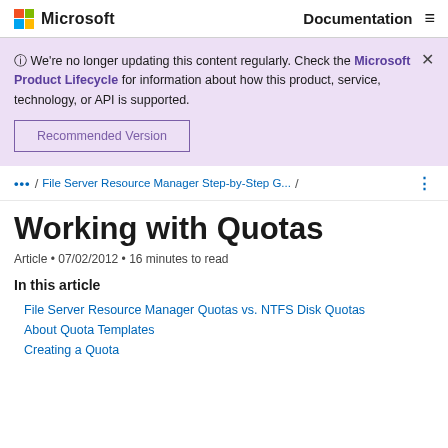Microsoft  Documentation
We're no longer updating this content regularly. Check the Microsoft Product Lifecycle for information about how this product, service, technology, or API is supported.
Recommended Version
... / File Server Resource Manager Step-by-Step G... /
Working with Quotas
Article • 07/02/2012 • 16 minutes to read
In this article
File Server Resource Manager Quotas vs. NTFS Disk Quotas
About Quota Templates
Creating a Quota